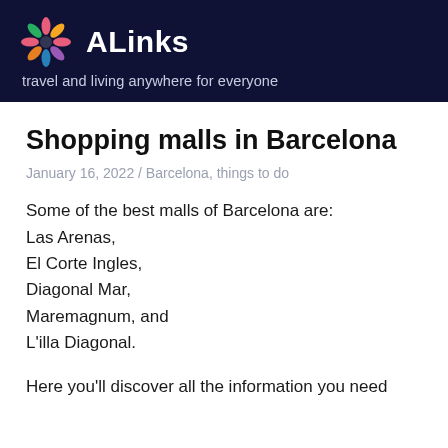ALinks — travel and living anywhere for everyone
Shopping malls in Barcelona
January 16, 2022 / Barcelona, things to do
Some of the best malls of Barcelona are:
Las Arenas,
El Corte Ingles,
Diagonal Mar,
Maremagnum, and
L'illa Diagonal.
Here you'll discover all the information you need